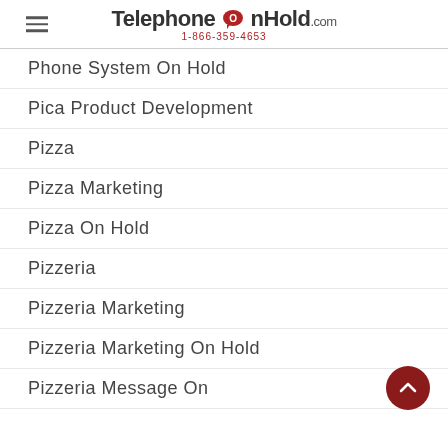TelephoneOnHold.com 1-866-359-4653
Phone System On Hold
Pica Product Development
Pizza
Pizza Marketing
Pizza On Hold
Pizzeria
Pizzeria Marketing
Pizzeria Marketing On Hold
Pizzeria Message On